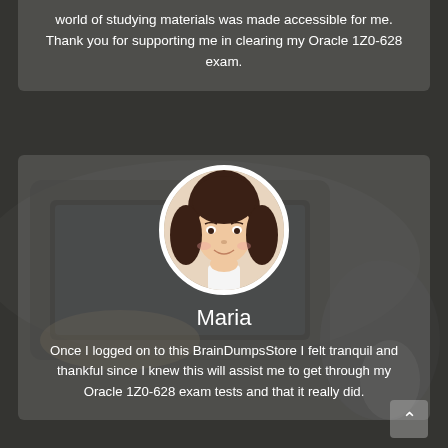world of studying materials was made accessible for me. Thank you for supporting me in clearing my Oracle 1Z0-628 exam.
[Figure (photo): Circular portrait photo of a young woman named Maria with dark brown hair, smiling, wearing a white top, set against a white background inside a circular frame.]
Maria
Once I logged on to this BrainDumpsStore I felt tranquil and thankful since I knew this will assist me to get through my Oracle 1Z0-628 exam tests and that it really did.